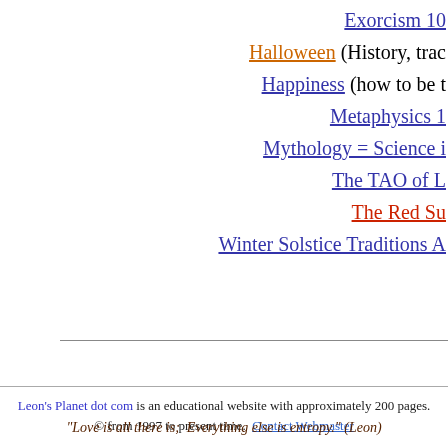Exorcism 10
Halloween (History, trac
Happiness (how to be t
Metaphysics 1
Mythology = Science i
The TAO of L
The Red Su
Winter Solstice Traditions A
Leon's Planet dot com  is an educational website with approximately 200 pages. © from 1997 to present time.  Contact Webmaster
"Love is all there is;  Everything else is entropy." (Leon)